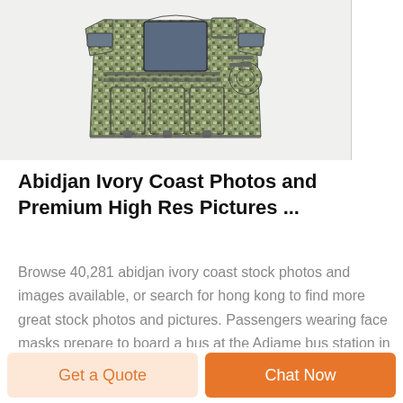[Figure (photo): A camouflage tactical vest/plate carrier with multiple pouches and MOLLE webbing, shown on white background. A vertical dividing line appears on the right side of the image area.]
Abidjan Ivory Coast Photos and Premium High Res Pictures ...
Browse 40,281 abidjan ivory coast stock photos and images available, or search for hong kong to find more great stock photos and pictures. Passengers wearing face masks prepare to board a bus at the Adiame bus station in Abidjan on July
Get a Quote
Chat Now